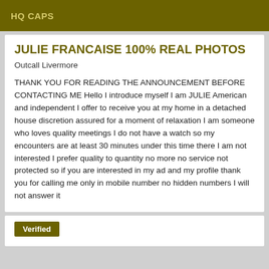HQ CAPS
JULIE FRANCAISE 100% REAL PHOTOS
Outcall Livermore
THANK YOU FOR READING THE ANNOUNCEMENT BEFORE CONTACTING ME Hello I introduce myself I am JULIE American and independent I offer to receive you at my home in a detached house discretion assured for a moment of relaxation I am someone who loves quality meetings I do not have a watch so my encounters are at least 30 minutes under this time there I am not interested I prefer quality to quantity no more no service not protected so if you are interested in my ad and my profile thank you for calling me only in mobile number no hidden numbers I will not answer it
Verified